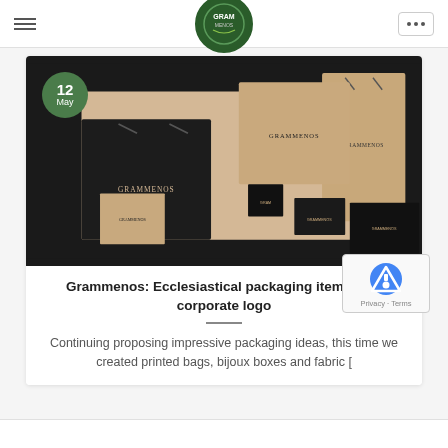Navigation header with logo
[Figure (photo): Collection of Grammenos branded black and beige packaging items including shopping bags, bijoux boxes, and fabric pouches with corporate logo printed on them, displayed on a flat surface. Date badge showing '12 May' overlaid on top-left corner.]
Grammenos: Ecclesiastical packaging items with corporate logo
Continuing proposing impressive packaging ideas, this time we created printed bags, bijoux boxes and fabric [...]